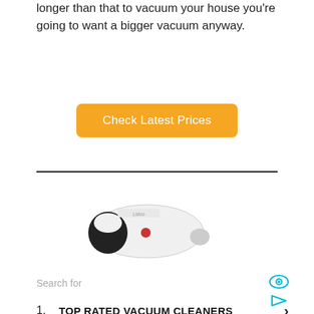longer than that to vacuum your house you're going to want a bigger vacuum anyway.
[Figure (other): Orange button with white text reading 'Check Latest Prices']
[Figure (other): Advertisement block featuring a white handheld vacuum cleaner image, 'Search for' label with eye icon, two search result rows: 1. TOP RATED VACUUM CLEANERS, 2. BEST VACUUM CLEANERS FOR PET, with chevron arrows and a play icon at bottom right]